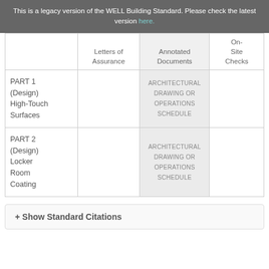This is a legacy version of the WELL Building Standard. Please check the latest version here.
|  | Letters of Assurance | Annotated Documents | On-Site Checks |
| --- | --- | --- | --- |
| PART 1 (Design) High-Touch Surfaces |  | ARCHITECTURAL DRAWING OR OPERATIONS SCHEDULE |  |
| PART 2 (Design) Locker Room Coating |  | ARCHITECTURAL DRAWING OR OPERATIONS SCHEDULE |  |
+ Show Standard Citations